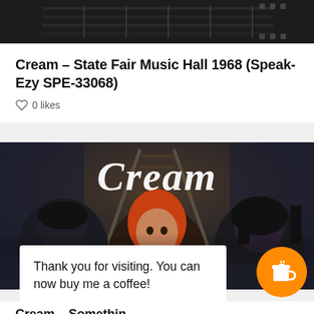[Figure (photo): Dark background photo showing guitar/music equipment]
Cream – State Fair Music Hall 1968 (Speak-Ezy SPE-33068)
0 likes
[Figure (photo): Album cover for Cream showing 'Cream' text over railroad tracks with three band members visible]
Thank you for visiting. You can now buy me a coffee!
Cream – Somethin...